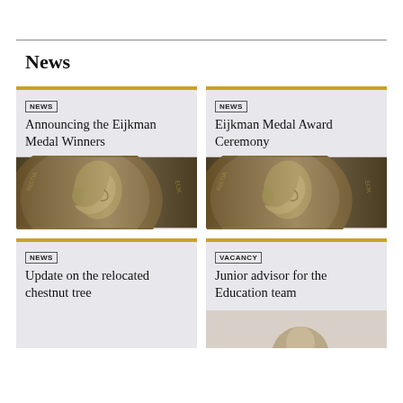News
[Figure (other): News card: Announcing the Eijkman Medal Winners, with photo of medal]
[Figure (other): News card: Eijkman Medal Award Ceremony, with photo of medal]
[Figure (other): News card: Update on the relocated chestnut tree]
[Figure (other): Vacancy card: Junior advisor for the Education team]